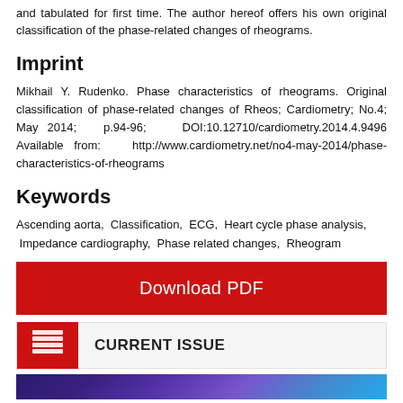and tabulated for first time. The author hereof offers his own original classification of the phase-related changes of rheograms.
Imprint
Mikhail Y. Rudenko. Phase characteristics of rheograms. Original classification of phase-related changes of Rheos; Cardiometry; No.4; May 2014; p.94-96; DOI:10.12710/cardiometry.2014.4.9496 Available from: http://www.cardiometry.net/no4-may-2014/phase-characteristics-of-rheograms
Keywords
Ascending aorta,  Classification,  ECG,  Heart cycle phase analysis,  Impedance cardiography,  Phase related changes,  Rheogram
[Figure (other): Red Download PDF button]
[Figure (other): Current Issue bar with red icon showing stacked pages and bold text CURRENT ISSUE]
[Figure (other): Bottom decorative image strip with purple to blue gradient]